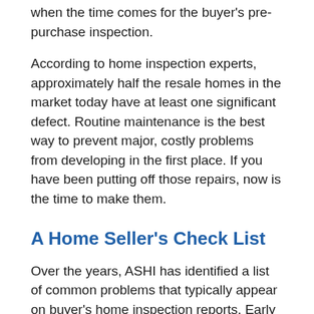when the time comes for the buyer's pre-purchase inspection.
According to home inspection experts, approximately half the resale homes in the market today have at least one significant defect. Routine maintenance is the best way to prevent major, costly problems from developing in the first place. If you have been putting off those repairs, now is the time to make them.
A Home Seller's Check List
Over the years, ASHI has identified a list of common problems that typically appear on buyer's home inspection reports. Early correction of these problems can increase a home's appeal and its selling price. It